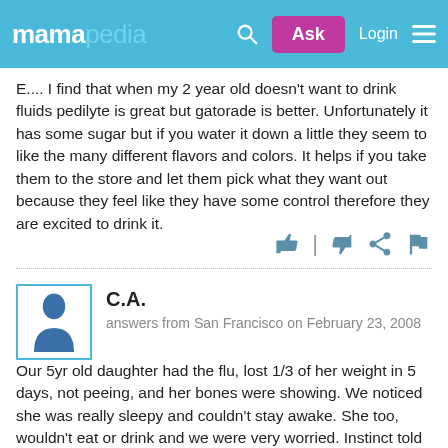mamapedia — Ask | Login
E.... I find that when my 2 year old doesn't want to drink fluids pedilyte is great but gatorade is better. Unfortunately it has some sugar but if you water it down a little they seem to like the many different flavors and colors. It helps if you take them to the store and let them pick what they want out because they feel like they have some control therefore they are excited to drink it.
[Figure (infographic): Thumbs up, divider, thumbs down, share, and flag action icons]
C.A.
answers from San Francisco on February 23, 2008
Our 5yr old daughter had the flu, lost 1/3 of her weight in 5 days, not peeing, and her bones were showing. We noticed she was really sleepy and couldn't stay awake. She too, wouldn't eat or drink and we were very worried. Instinct told me to give her a glucose tablet (sugar tablets they sell at any drug store)- at the same time I was on